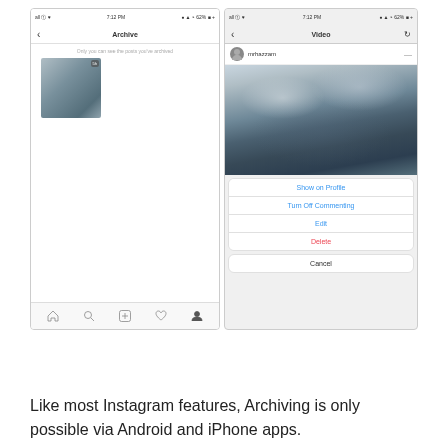[Figure (screenshot): Two side-by-side Instagram mobile screenshots. Left shows Archive screen with a cloud video thumbnail. Right shows Video screen with a context menu displaying options: Show on Profile, Turn Off Commenting, Edit, Delete, and Cancel.]
Like most Instagram features, Archiving is only possible via Android and iPhone apps.